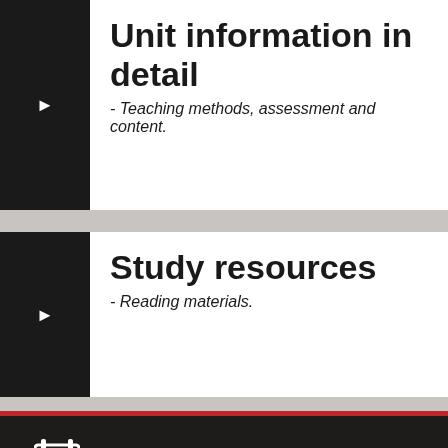Unit information in detail
- Teaching methods, assessment and content.
Study resources
- Reading materials.
COURSE PLANNER
TIMETABLE PLANNER
CONTACT US